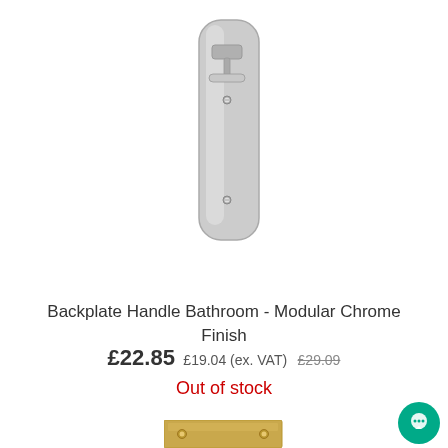[Figure (photo): Chrome backplate door handle with thumb turn fitting, shown on a silver elongated backplate. Product photographed on white background, cropped at top of page.]
Backplate Handle Bathroom - Modular Chrome Finish
£22.85 £19.04 (ex. VAT) £29.09
Out of stock
[Figure (photo): Gold/brass coloured rectangular backplate hardware piece, partially visible at bottom of page.]